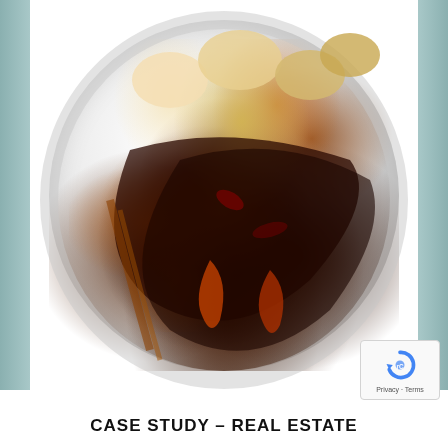[Figure (photo): Close-up photo of a food dish on a white plate — grilled shrimp and sausage/meat strips with onions and peppers in a dark brown sauce, served on a round white plate. The image is cropped to show mostly the top portion of the plate from above.]
[Figure (logo): Google reCAPTCHA badge in the bottom-right corner showing the reCAPTCHA logo (circular arrow icon) with 'Privacy - Terms' text below.]
CASE STUDY – REAL ESTATE